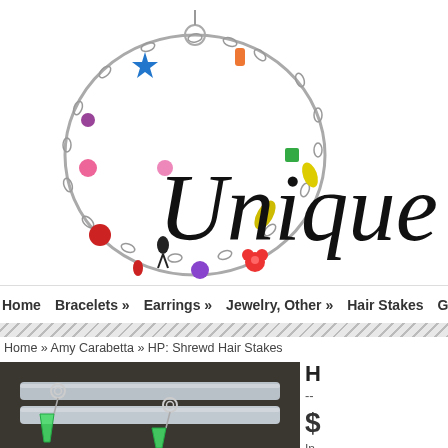[Figure (logo): Unique Creations jewelry store logo with colorful charm bracelet image on the left and cursive text 'Unique Cr' on the right]
Home   Bracelets »   Earrings »   Jewelry, Other »   Hair Stakes   Geek »
Home » Amy Carabetta » HP: Shrewd Hair Stakes
[Figure (photo): Close-up photo of silver hair stakes with green glass bead dangles on a dark background]
H
--
$
In